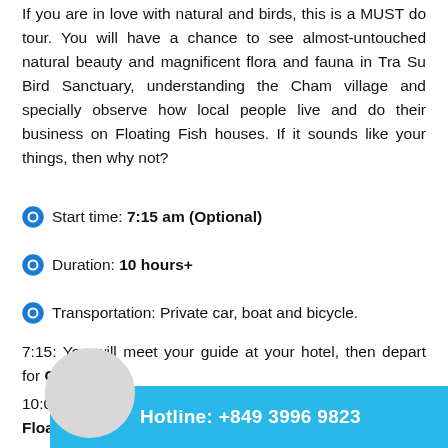If you are in love with natural and birds, this is a MUST do tour. You will have a chance to see almost-untouched natural beauty and magnificent flora and fauna in Tra Su Bird Sanctuary, understanding the Cham village and specially observe how local people live and do their business on Floating Fish houses. If it sounds like your things, then why not?
Start time: 7:15 am (Optional)
Duration: 10 hours+
Transportation: Private car, boat and bicycle.
7:15: You will meet your guide at your hotel, then depart for Chau Doc.
10:00: Arriving the city center, taking a private boat to visit Floating Fish Farm to see how this unique occupation is performed and having a small talk with family members, getting to change...
Hotline: +849 3996 9823